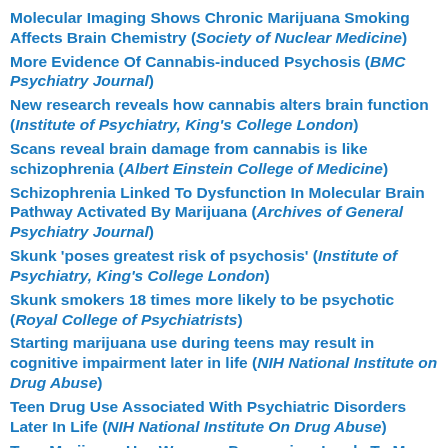Molecular Imaging Shows Chronic Marijuana Smoking Affects Brain Chemistry (Society of Nuclear Medicine)
More Evidence Of Cannabis-induced Psychosis (BMC Psychiatry Journal)
New research reveals how cannabis alters brain function (Institute of Psychiatry, King's College London)
Scans reveal brain damage from cannabis is like schizophrenia (Albert Einstein College of Medicine)
Schizophrenia Linked To Dysfunction In Molecular Brain Pathway Activated By Marijuana (Archives of General Psychiatry Journal)
Skunk 'poses greatest risk of psychosis' (Institute of Psychiatry, King's College London)
Skunk smokers 18 times more likely to be psychotic (Royal College of Psychiatrists)
Starting marijuana use during teens may result in cognitive impairment later in life (NIH National Institute on Drug Abuse)
Teen Drug Use Associated With Psychiatric Disorders Later In Life (NIH National Institute On Drug Abuse)
Teen Marijuana Use Worsens Depression, Leads To More Serious Mental Illness (Office of National Drug